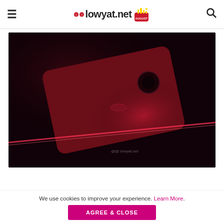lowyat.net
[Figure (photo): Close-up photo of a red smartphone (likely OnePlus or Huawei) shot in low light with dramatic red lighting, showing the rear camera module, fingerprint sensor, and glossy red back. The lowyat.net watermark is visible in the bottom right corner.]
We use cookies to improve your experience. Learn More.
AGREE & CLOSE